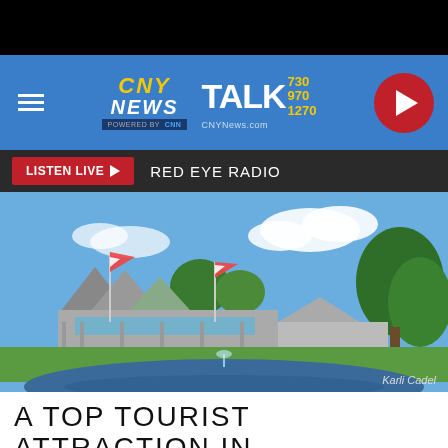[Figure (screenshot): CNY News Talk 730/970/1270 radio station website header screenshot showing logo, hamburger menu, play button, Listen Live bar with Red Eye Radio text, and a photo of a large pavilion building with flags, people, green lawn, and a pond with fountain in front. Photo credited to Karli Cadel.]
A TOP TOURIST ATTRACTION IN